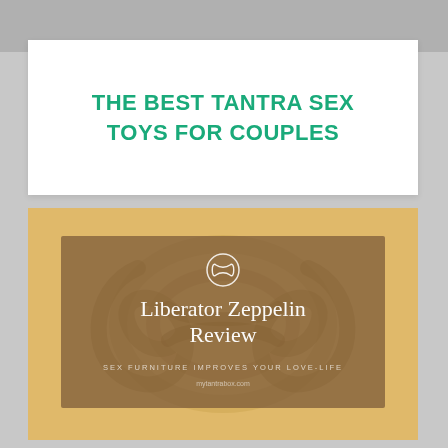THE BEST TANTRA SEX TOYS FOR COUPLES
[Figure (illustration): Promotional image card with warm yellow/ochre background showing a decorative rope knot, overlaid with a brown semi-transparent rectangle containing an infinity/lemniscate symbol, the text 'Liberator Zeppelin Review', subtitle 'SEX FURNITURE IMPROVES YOUR LOVE-LIFE', and a website URL.]